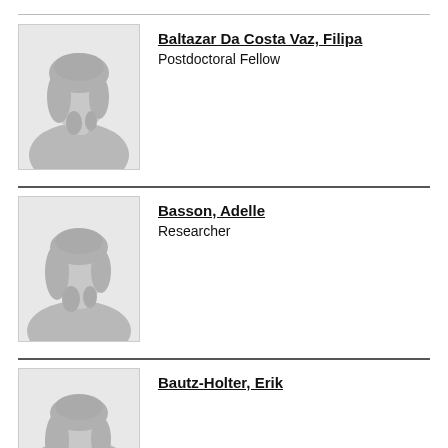[Figure (photo): Placeholder silhouette photo for Baltazar Da Costa Vaz, Filipa]
Baltazar Da Costa Vaz, Filipa
Postdoctoral Fellow
[Figure (photo): Placeholder silhouette photo for Basson, Adelle]
Basson, Adelle
Researcher
[Figure (photo): Placeholder silhouette photo for Bautz-Holter, Erik]
Bautz-Holter, Erik